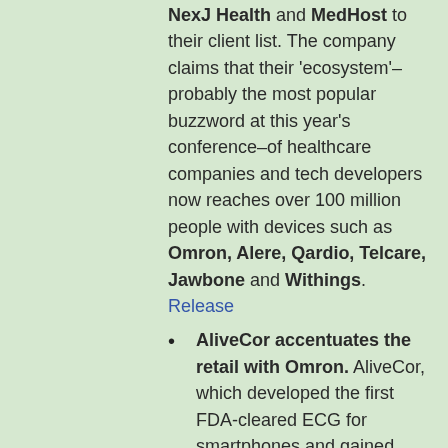NexJ Health and MedHost to their client list. The company claims that their 'ecosystem'–probably the most popular buzzword at this year's conference–of healthcare companies and tech developers now reaches over 100 million people with devices such as Omron, Alere, Qardio, Telcare, Jawbone and Withings. Release
AliveCor accentuates the retail with Omron. AliveCor, which developed the first FDA-cleared ECG for smartphones and gained clearance for an atrial fibrillation algorithm in August, is collaborating with Japanese device manufacturer Omron on developing its retail presence. Omron's devices are available in major drugstores such as Walgreens, RiteAid and Walmart so certainly AliveCor is due to benefit. AliveCor is also part of a revived QualcommLife (more on this in an upcoming